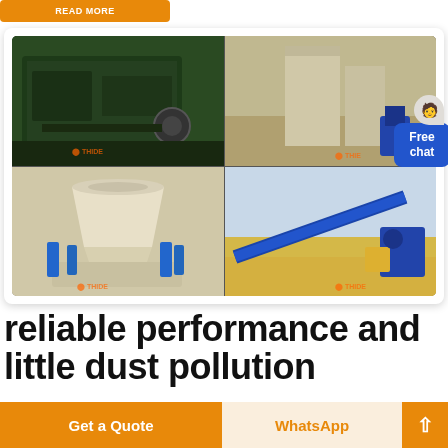[Figure (photo): Orange button at top left of page, partially visible, with white bold text.]
[Figure (photo): 2x2 grid of industrial machinery photos from THIDE company: top-left shows a large green industrial grinding/crushing machine in a factory; top-right shows large silos or dust collectors in an industrial building; bottom-left shows a cone crusher with white/blue components; bottom-right shows a stone crushing and conveying plant outdoors on sandy ground. THIDE watermarks visible on each photo.]
reliable performance and little dust pollution
[Figure (infographic): Bottom bar with orange 'Get a Quote' button, light orange 'WhatsApp' section, and orange up-arrow button.]